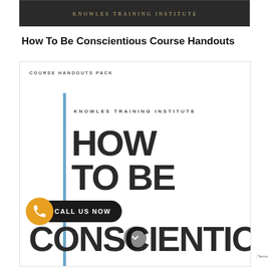[Figure (photo): Knowles Training Institute banner with dark background and golden serif text]
How To Be Conscientious Course Handouts
[Figure (illustration): Course handout pack preview with blue vertical line accent, Knowles Training Institute label, and large bold text reading HOW TO BE CONSCIENTIOUS]
CALL US NOW